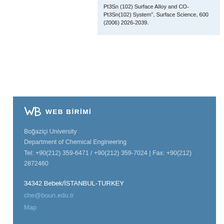Pt3Sn (102) Surface Alloy and CO-Pt3Sn(102) System", Surface Science, 600 (2006) 2026-2039.
[Figure (logo): WEB BİRİMİ logo with stylized WB icon and text]
Boğaziçi University
Department of Chemical Engineering
Tel: +90(212) 359-6471 / +90(212) 359-7024 | Fax: +90(212) 2872460
34342 Bebek/İSTANBUL-TURKEY
che@boun.edu.tr
Map